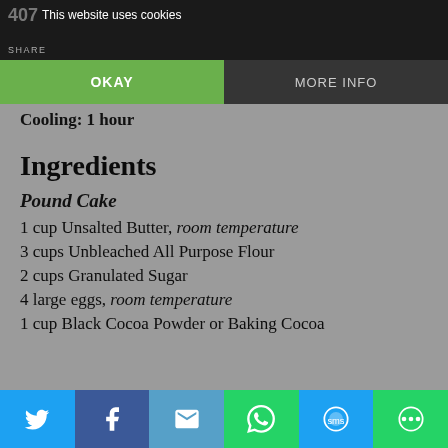407 | This website uses cookies | SHARE
OKAY | MORE INFO
Cooling: 1 hour
Ingredients
Pound Cake
1 cup Unsalted Butter, room temperature
3 cups Unbleached All Purpose Flour
2 cups Granulated Sugar
4 large eggs, room temperature
1 cup Black Cocoa Powder or Baking Cocoa
Twitter | Facebook | Email | WhatsApp | SMS | More